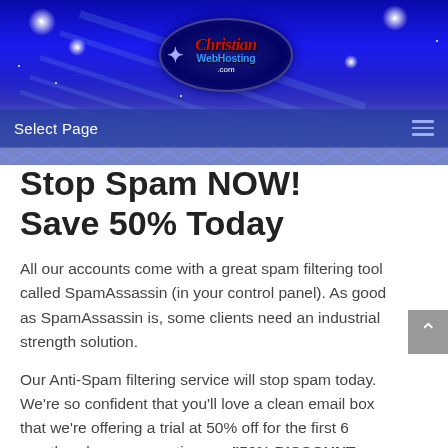[Figure (screenshot): Christian WebHosting.com website header with blue starfield background, oval logo, navigation bar with 'Select Page' text and hamburger menu icon, and decorative zigzag border at the bottom.]
Stop Spam NOW! Save 50% Today
All our accounts come with a great spam filtering tool called SpamAssassin (in your control panel). As good as SpamAssassin is, some clients need an industrial strength solution.
Our Anti-Spam filtering service will stop spam today. We're so confident that you'll love a clean email box that we're offering a trial at 50% off for the first 6 months when you mention our "50% DISCOUNT PROGRAM!" (you must mention the program to get